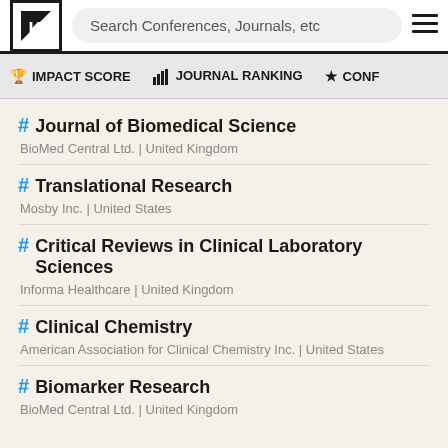Search Conferences, Journals, etc
IMPACT SCORE  JOURNAL RANKING  CONF...
Journal of Biomedical Science
BioMed Central Ltd. | United Kingdom
Translational Research
Mosby Inc. | United States
Critical Reviews in Clinical Laboratory Sciences
Informa Healthcare | United Kingdom
Clinical Chemistry
American Association for Clinical Chemistry Inc. | United States
Biomarker Research
BioMed Central Ltd. | United Kingdom